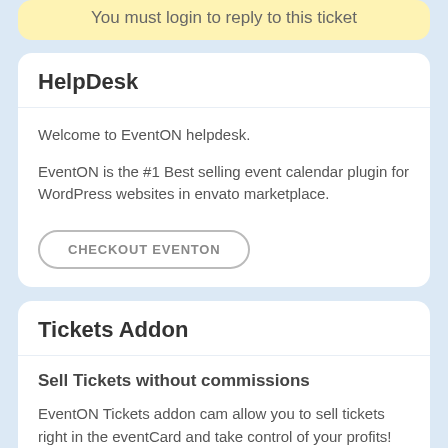You must login to reply to this ticket
HelpDesk
Welcome to EventON helpdesk.
EventON is the #1 Best selling event calendar plugin for WordPress websites in envato marketplace.
CHECKOUT EVENTON
Tickets Addon
Sell Tickets without commissions
EventON Tickets addon cam allow you to sell tickets right in the eventCard and take control of your profits!